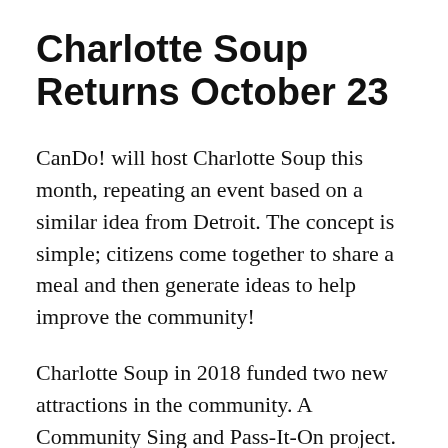Charlotte Soup Returns October 23
CanDo! will host Charlotte Soup this month, repeating an event based on a similar idea from Detroit. The concept is simple; citizens come together to share a meal and then generate ideas to help improve the community!
Charlotte Soup in 2018 funded two new attractions in the community. A Community Sing and Pass-It-On project.  A Community Sing took place Memorial Day Weekend on Court House Square.  Pass-It-On is still in the creating stages and will be taking action soon.